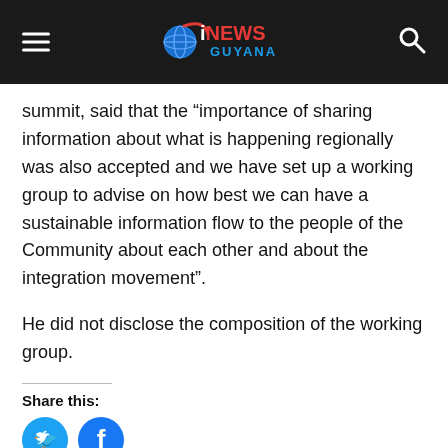iNEWS GUYANA
summit, said that the “importance of sharing information about what is happening regionally was also accepted and we have set up a working group to advise on how best we can have a sustainable information flow to the people of the Community about each other and about the integration movement”.
He did not disclose the composition of the working group.
Share this:
[Figure (infographic): Social share buttons: Twitter (blue circle) and Facebook (blue circle)]
[Figure (infographic): Social media share bar with square buttons: Facebook (dark blue), Twitter (light blue), Google+ (red-orange), Pinterest (red), WhatsApp (green)]